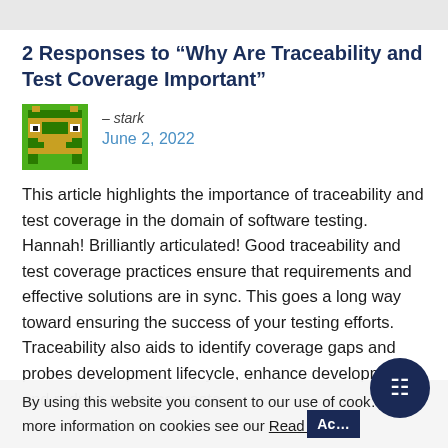2 Responses to “Why Are Traceability and Test Coverage Important”
[Figure (illustration): Pixel-art avatar icon of a green robot/alien face on a green background, used as commenter avatar]
– stark
June 2, 2022
This article highlights the importance of traceability and test coverage in the domain of software testing. Hannah! Brilliantly articulated! Good traceability and test coverage practices ensure that requirements and effective solutions are in sync. This goes a long way toward ensuring the success of your testing efforts. Traceability also aids to identify coverage gaps and probes development lifecycle, enhance development, and reduce resource waste.
By using this website you consent to our use of cookies. For more information on cookies see our Read More